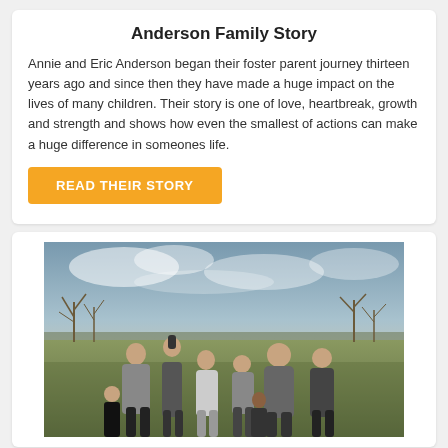Anderson Family Story
Annie and Eric Anderson began their foster parent journey thirteen years ago and since then they have made a huge impact on the lives of many children. Their story is one of love, heartbreak, growth and strength and shows how even the smallest of actions can make a huge difference in someones life.
READ THEIR STORY
[Figure (photo): Outdoor family photo of the Anderson family — two adults and several children standing together in a field with bare winter trees and a dramatic sky in the background.]